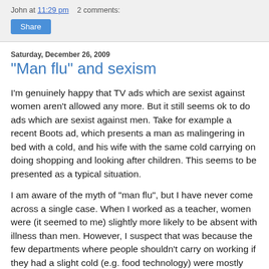John at 11:29 pm   2 comments:
Share
Saturday, December 26, 2009
"Man flu" and sexism
I'm genuinely happy that TV ads which are sexist against women aren't allowed any more. But it still seems ok to do ads which are sexist against men. Take for example a recent Boots ad, which presents a man as malingering in bed with a cold, and his wife with the same cold carrying on doing shopping and looking after children. This seems to be presented as a typical situation.
I am aware of the myth of "man flu", but I have never come across a single case. When I worked as a teacher, women were (it seemed to me) slightly more likely to be absent with illness than men. However, I suspect that was because the few departments where people shouldn't carry on working if they had a slight cold (e.g. food technology) were mostly